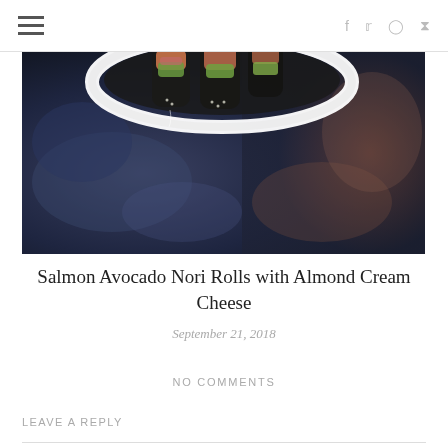≡  f  Twitter  Instagram  Pinterest
[Figure (photo): Close-up photo of salmon avocado nori rolls in a white bowl on a dark blue-grey mottled surface. The rolls show dark nori wrapping with salmon and avocado filling visible.]
Salmon Avocado Nori Rolls with Almond Cream Cheese
September 21, 2018
NO COMMENTS
LEAVE A REPLY